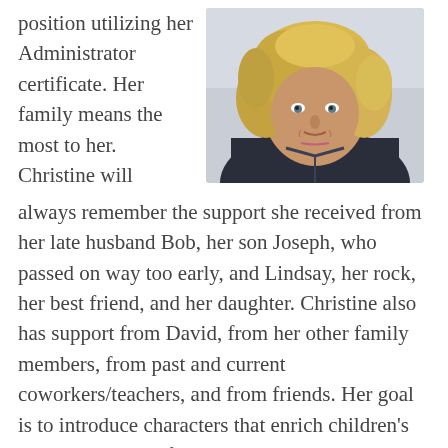position utilizing her Administrator certificate. Her family means the most to her. Christine will
[Figure (photo): Outdoor portrait photo of a woman with long blonde hair wearing a dark jacket]
always remember the support she received from her late husband Bob, her son Joseph, who passed on way too early, and Lindsay, her rock, her best friend, and her daughter. Christine also has support from David, from her other family members, from past and current coworkers/teachers, and from friends. Her goal is to introduce characters that enrich children's lives and ignite a fire to learn more, increase knowledge of the world around, and be creative. Christine is an animal lover. She has owned dogs, cats, guinea pigs, rats, hamsters, cockatiels, chickens,